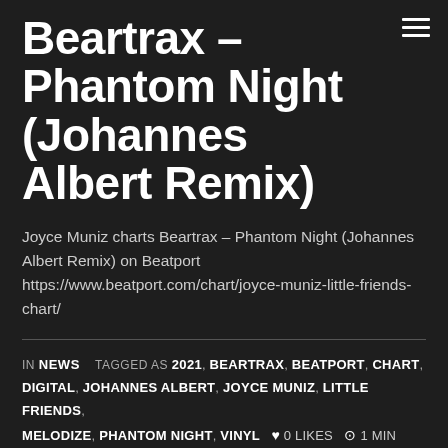Beartrax – Phantom Night (Johannes Albert Remix)
Joyce Muniz charts Beartrax – Phantom Night (Johannes Albert Remix) on Beatport https://www.beatport.com/chart/joyce-muniz-little-friends-chart/
IN NEWS TAGGED AS 2021, BEARTRAX, BEATPORT, CHART, DIGITAL, JOHANNES ALBERT, JOYCE MUNIZ, LITTLE FRIENDS, MELODIZE, PHANTOM NIGHT, VINYL ♥ 0 LIKES ⊙ 1 MIN